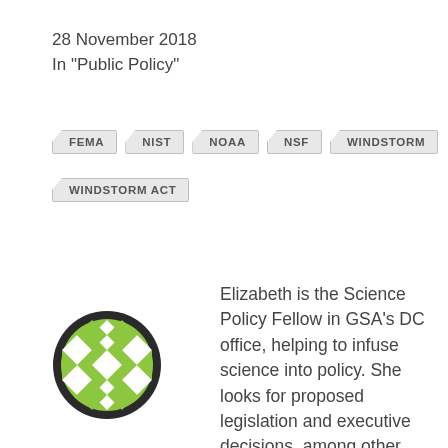28 November 2018
In "Public Policy"
FEMA
NIST
NOAA
NSF
WINDSTORM
WINDSTORM ACT
[Figure (illustration): Circular avatar with green and white geometric/diamond pattern on dark border]
Elizabeth is the Science Policy Fellow in GSA's DC office, helping to infuse science into policy. She looks for proposed legislation and executive decisions, among other policy changes, and attend congressional hearings, agency briefings, seminars and coalition sessions that are relevant to